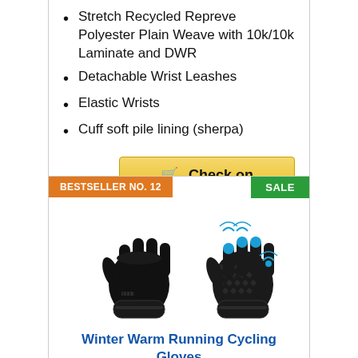Stretch Recycled Repreve Polyester Plain Weave with 10k/10k Laminate and DWR
Detachable Wrist Leashes
Elastic Wrists
Cuff soft pile lining (sherpa)
Check on Amazon
BESTSELLER NO. 12
SALE
[Figure (photo): Two black winter gloves shown side by side. Left glove is smooth and plain, right glove has textured grip pattern with blue touchscreen fingertips and wireless signal icons.]
Winter Warm Running Cycling Gloves Cold Weather Ski Thermal Screen...